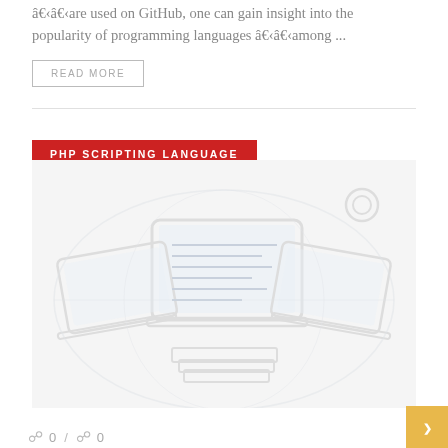â€‹â€‹are used on GitHub, one can gain insight into the popularity of programming languages â€‹â€‹among ...
READ MORE
PHP SCRIPTING LANGUAGE
[Figure (illustration): Faded/watermark-style illustration of laptops and coding-related imagery on a light grey background]
0 / 0